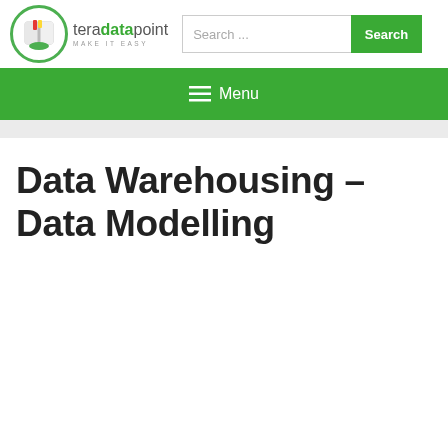[Figure (logo): teradatapoint logo with circular green-bordered icon containing a book, and text 'teradatapoint MAKE IT EASY']
Search ...
Search
≡  Menu
Data Warehousing – Data Modelling